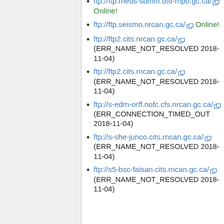ftp://ftp.meds-sdmm.dfo-mpo.gc.ca/ Online!
ftp://ftp.seismo.nrcan.gc.ca/ Online!
ftp://ftp2.cits.nrcan.gc.ca/ (ERR_NAME_NOT_RESOLVED 2018-11-04)
ftp://ftp2.cits.rncan.gc.ca/ (ERR_NAME_NOT_RESOLVED 2018-11-04)
ftp://s-edm-orff.nofc.cfs.nrcan.gc.ca/ (ERR_CONNECTION_TIMED_OUT 2018-11-04)
ftp://s-she-junco.cits.rncan.gc.ca/ (ERR_NAME_NOT_RESOLVED 2018-11-04)
ftp://s5-bsc-faisan.cits.rncan.gc.ca/ (ERR_NAME_NOT_RESOLVED 2018-11-04)